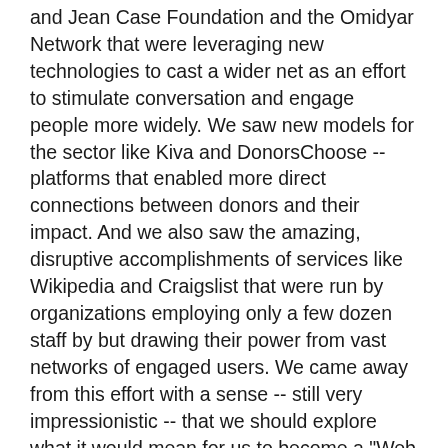and Jean Case Foundation and the Omidyar Network that were leveraging new technologies to cast a wider net as an effort to stimulate conversation and engage people more widely. We saw new models for the sector like Kiva and DonorsChoose -- platforms that enabled more direct connections between donors and their impact. And we also saw the amazing, disruptive accomplishments of services like Wikipedia and Craigslist that were run by organizations employing only a few dozen staff by but drawing their power from vast networks of engaged users. We came away from this effort with a sense -- still very impressionistic -- that we should explore what it would mean for us to become a "Web 2.0 Philanthropy."
"Web 2.0" is becoming an increasingly archaic term as it is regularly supplanted by the term "social media," but for us, the distinction has meaning. Where "social media" is often associated with services like Facebook, Twitter, or Flickr, we see "Web 2.0" as running deeper. It is the collection of tools that harness the collective creativity and knowledge of and promote interaction among the Web's many users. It is based on an "architecture of participation," which enables the users of a service to add value to that service. Beyond